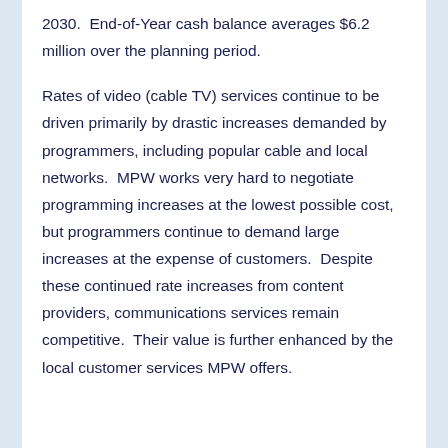2030.  End-of-Year cash balance averages $6.2 million over the planning period.
Rates of video (cable TV) services continue to be driven primarily by drastic increases demanded by programmers, including popular cable and local networks.  MPW works very hard to negotiate programming increases at the lowest possible cost, but programmers continue to demand large increases at the expense of customers.  Despite these continued rate increases from content providers, communications services remain competitive.  Their value is further enhanced by the local customer services MPW offers.